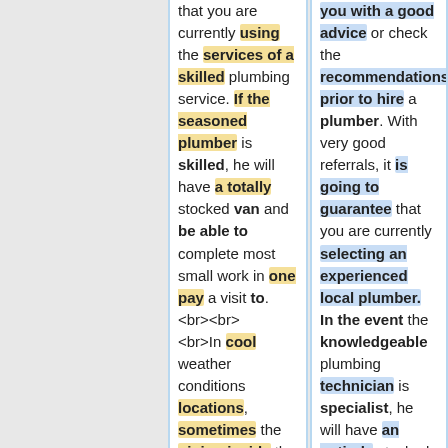that you are currently using the services of a skilled plumbing service. If the seasoned plumber is skilled, he will have a totally stocked van and be able to complete most small work in one pay a visit to.<br><br><br>In cool weather conditions locations, sometimes the piping inside the domestic plumbing
you with a good advice or check the recommendations prior to hire a plumber. With very good referrals, it is going to guarantee that you are currently selecting an experienced local plumber. In the event the knowledgeable plumbing technician is specialist, he will have an entirely stocked pickup truck and then